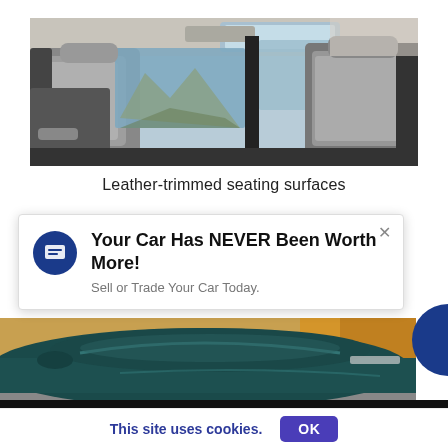[Figure (photo): Car interior rear seats viewed from behind, leather trim, panoramic sunroof, mountains visible through window]
Leather-trimmed seating surfaces
[Figure (infographic): Ad popup notification: 'Your Car Has NEVER Been Worth More! Sell or Trade Your Car Today.' with blue chat icon and close X button]
[Figure (photo): Car exterior teal/dark blue vehicle parked outdoors with autumn trees in background]
This site uses cookies.
OK